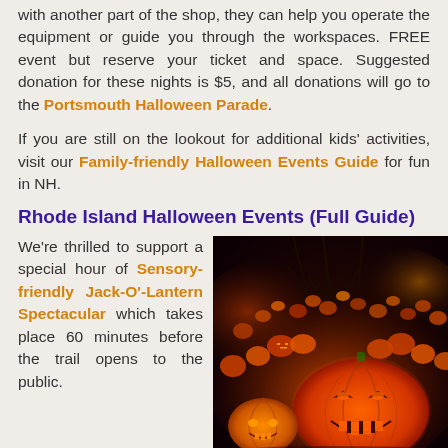with another part of the shop, they can help you operate the equipment or guide you through the workspaces. FREE event but reserve your ticket and space. Suggested donation for these nights is $5, and all donations will go to the Portsmouth Halloween Parade.
If you are still on the lookout for additional kids' activities, visit our Family-friendly Halloween Events Guide for fun in NH.
Rhode Island Halloween Events (Full Guide)
We're thrilled to support a special hour of Sensory-friendly Jack-O'-Lantern Spectacular which takes place 60 minutes before the trail opens to the public.
[Figure (photo): A nighttime photo of many glowing jack-o'-lanterns among bare trees, with various carved faces illuminated in orange and red light.]